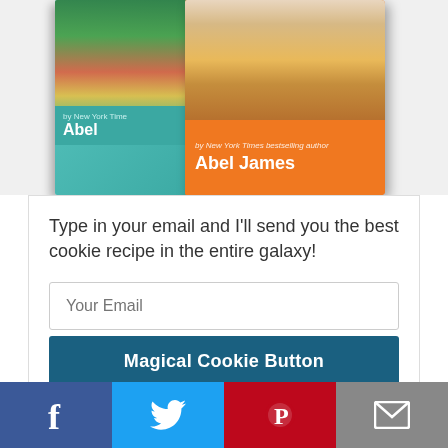[Figure (illustration): Two cookbook mockups side by side. Left book has a teal/cyan spine and cover with food imagery, labeled 'by New York Times bestselling author Abel'. Right book has an orange cover with pasta/food photo, labeled 'by New York Times bestselling author Abel James'.]
Type in your email and I'll send you the best cookie recipe in the entire galaxy!
Your Email
Magical Cookie Button
Recent Posts
[Figure (infographic): Social sharing bar with four buttons: Facebook (dark blue, f icon), Twitter (light blue, bird icon), Pinterest (red, P icon), Email (gray, envelope icon)]